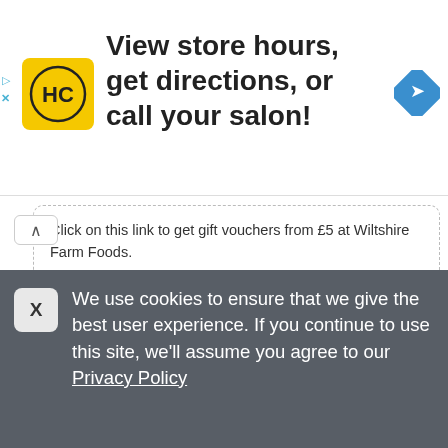[Figure (screenshot): Advertisement banner with HC (Hair Club) yellow logo, text 'View store hours, get directions, or call your salon!', and a blue navigation diamond icon on the right.]
Click on this link to get gift vouchers from £5 at Wiltshire Farm Foods.
VIEW OFFER
Share
0 times used
[Figure (screenshot): Partial offer card with a blue diagonal ribbon labeled 'Offer']
We use cookies to ensure that we give the best user experience. If you continue to use this site, we'll assume you agree to our Privacy Policy